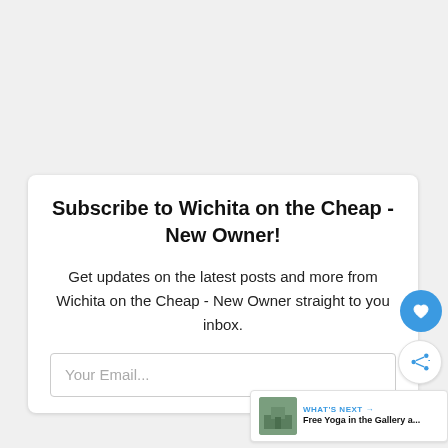Subscribe to Wichita on the Cheap - New Owner!
Get updates on the latest posts and more from Wichita on the Cheap - New Owner straight to you inbox.
Your Email...